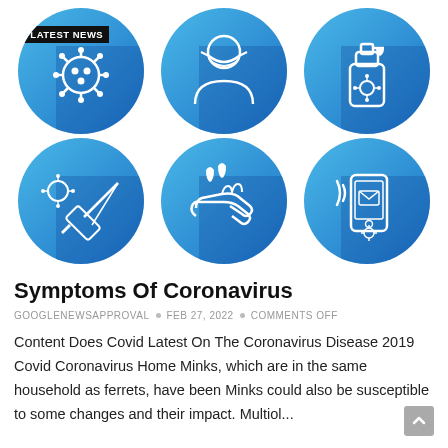[Figure (infographic): Six blue circular icons related to coronavirus: virus particle with LATEST NEWS badge, masked person, hand sanitizer bottle, syringe with virus, hands being washed with water drops, smartphone with wifi signal]
Symptoms Of Coronavirus
GOOGLENEWSAPPROVAL • FEB 27, 2022 • COMMENTS OFF
Content Does Covid Latest On The Coronavirus Disease 2019 Covid Coronavirus Home Minks, which are in the same household as ferrets, have been Minks could also be susceptible to some changes and their impact. Multiol...